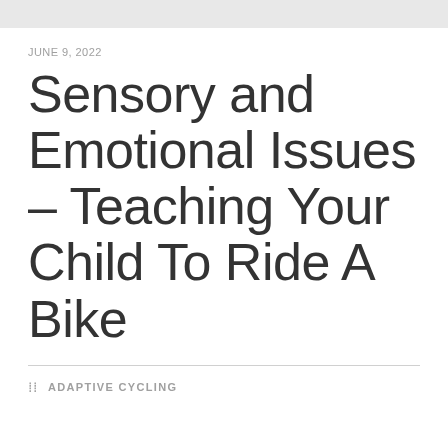JUNE 9, 2022
Sensory and Emotional Issues – Teaching Your Child To Ride A Bike
ADAPTIVE CYCLING